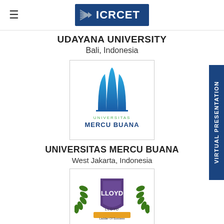[Figure (logo): ICRCET logo — blue rectangle with arrow lines and text ICRCET in white]
UDAYANA UNIVERSITY
Bali, Indonesia
[Figure (logo): Universitas Mercu Buana logo — blue flame/pillar symbol with text UNIVERSITAS MERCU BUANA]
UNIVERSITAS MERCU BUANA
West Jakarta, Indonesia
[Figure (logo): Lloyd logo — shield with LLOYD text and laurel wreath, Ladder Of Success tagline]
[Figure (other): VIRTUAL PRESENTATION vertical tab on right side]